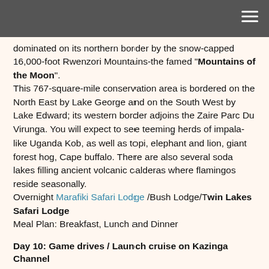dominated on its northern border by the snow-capped 16,000-foot Rwenzori Mountains-the famed "Mountains of the Moon".
This 767-square-mile conservation area is bordered on the North East by Lake George and on the South West by Lake Edward; its western border adjoins the Zaire Parc Du Virunga. You will expect to see teeming herds of impala-like Uganda Kob, as well as topi, elephant and lion, giant forest hog, Cape buffalo. There are also several soda lakes filling ancient volcanic calderas where flamingos reside seasonally.
Overnight Marafiki Safari Lodge /Bush Lodge/Twin Lakes Safari Lodge
Meal Plan: Breakfast, Lunch and Dinner
Day 10: Game drives / Launch cruise on Kazinga Channel
Wake up early and go for a game drive in the Kasenyi area, return to the lodge for lunch.
In the afternoon there will be a launch trip on the Kazinga Channel. This fresh water system joining Lake